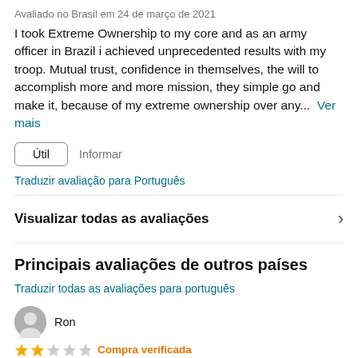Avaliado no Brasil em 24 de março de 2021
I took Extreme Ownership to my core and as an army officer in Brazil i achieved unprecedented results with my troop. Mutual trust, confidence in themselves, the will to accomplish more and more mission, they simple go and make it, because of my extreme ownership over any...  Ver mais
Útil   Informar
Traduzir avaliação para Português
Visualizar todas as avaliações
Principais avaliações de outros países
Traduzir todas as avaliações para português
Ron
★★☆☆☆  Compra verificada
I wish it was less military gibberish